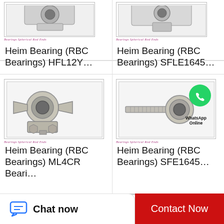[Figure (photo): Heim Bearing (RBC Bearings) HFL12Y spherical rod end bearing product image with 'Bearings Spherical Rod Ends' label]
Heim Bearing (RBC Bearings) HFL12Y…
[Figure (photo): Heim Bearing (RBC Bearings) SFLE1645 spherical rod end bearing product image with 'Bearings Spherical Rod Ends' label]
Heim Bearing (RBC Bearings) SFLE1645…
[Figure (photo): Heim Bearing (RBC Bearings) ML4CR spherical rod end bearing product image with 'Bearings Spherical Rod Ends' label]
Heim Bearing (RBC Bearings) ML4CR Beari…
[Figure (photo): Heim Bearing (RBC Bearings) SFE1645 spherical rod end bearing product image with WhatsApp Online overlay and 'Bearings Spherical Rod Ends' label]
Heim Bearing (RBC Bearings) SFE1645…
Chat now
Contact Now